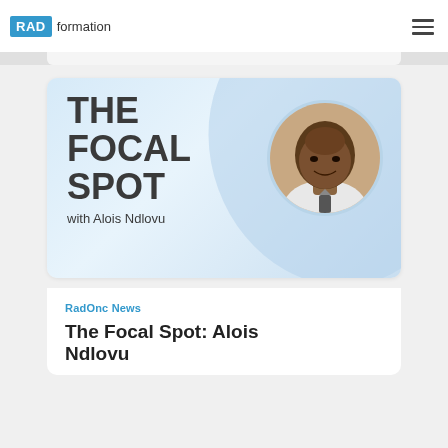RADformation
[Figure (illustration): The Focal Spot podcast card with large bold text reading THE FOCAL SPOT with Alois Ndlovu on a light blue gradient background, with a circular headshot photo of Alois Ndlovu on the right side]
RadOnc News
The Focal Spot: Alois Ndlovu